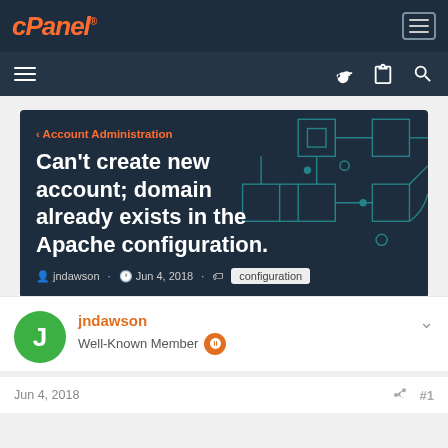cPanel
[Figure (screenshot): cPanel forum page header with navigation bars and hero banner showing article title 'Can't create new account; domain already exists in the Apache configuration.' by jndawson, Jun 4 2018, tagged configuration]
jndawson
Well-Known Member
Jun 4, 2018
#1